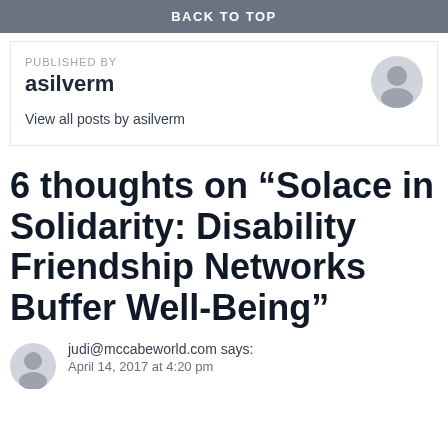BACK TO TOP
PUBLISHED BY
asilverm

View all posts by asilverm
6 thoughts on “Solace in Solidarity: Disability Friendship Networks Buffer Well-Being”
judi@mccabeworld.com says:
April 14, 2017 at 4:20 pm